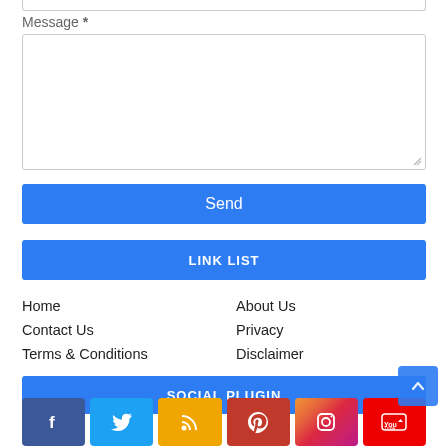Message *
Send
LINK LIST
Home
About Us
Contact Us
Privacy
Terms & Conditions
Disclaimer
SOCIAL PLUGIN
[Figure (infographic): Social media icon buttons: Facebook (blue), Twitter (light blue), RSS (yellow/orange), Pinterest (red), Instagram (gradient), YouTube (red)]